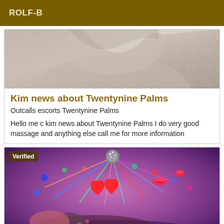ROLF-B
[Figure (photo): Close-up photo of person wearing white lace top]
Kim news about Twentynine Palms
Outcalls escorts Twentynine Palms
Hello me c kim news about Twentynine Palms I do very good massage and anything else call me for more information
[Figure (photo): Photo with purple lighting, disco lights, red hearts and lips emojis, person lying down. Verified badge in top left corner.]